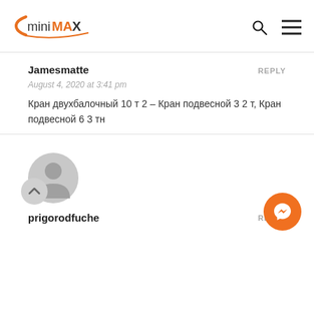[Figure (logo): miniMAX logo in orange and black]
Jamesmatte
REPLY
August 4, 2020 at 3:41 pm
Кран двухбалочный 10 т 2 – Кран подвесной 3 2 т, Кран подвесной 6 3 тн
[Figure (illustration): Generic user avatar icon in grey circle]
prigorodfuche
REPLY